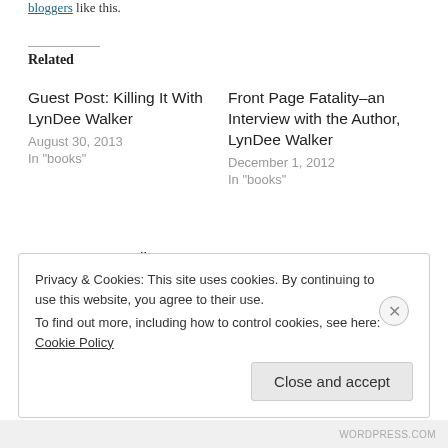bloggers like this.
Related
Guest Post: Killing It With LynDee Walker
August 30, 2013
In "books"
Front Page Fatality–an Interview with the Author, LynDee Walker
December 1, 2012
In "books"
Front Page Fatality–Let's Talk With LynDee
January 28, 2013
With 12 comments
Privacy & Cookies: This site uses cookies. By continuing to use this website, you agree to their use. To find out more, including how to control cookies, see here: Cookie Policy
Close and accept
WDPRESS.COM